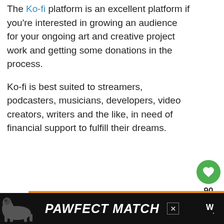The Ko-fi platform is an excellent platform if you're interested in growing an audience for your ongoing art and creative project work and getting some donations in the process.
Ko-fi is best suited to streamers, podcasters, musicians, developers, video creators, writers and the like, in need of financial support to fulfill their dreams.
[Figure (photo): Orange advertisement banner with the word CHANGE in large white italic bold text, with a dog visible in the lower portion. A thumbnail of a woman is shown to the right alongside a 'WHAT'S NEXT' callout box reading '38 Ways To Make $300...']
[Figure (photo): Black bottom advertisement bar with a greyhound dog silhouette and bold white italic text reading 'PAWFECT MATCH'. A close X button and weather icon are visible on the right.]